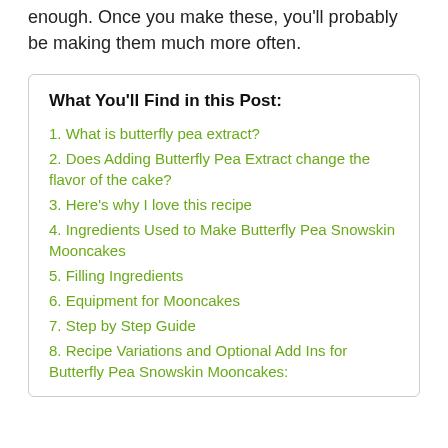enough. Once you make these, you'll probably be making them much more often.
What You'll Find in this Post:
1. What is butterfly pea extract?
2. Does Adding Butterfly Pea Extract change the flavor of the cake?
3. Here's why I love this recipe
4. Ingredients Used to Make Butterfly Pea Snowskin Mooncakes
5. Filling Ingredients
6. Equipment for Mooncakes
7. Step by Step Guide
8. Recipe Variations and Optional Add Ins for Butterfly Pea Snowskin Mooncakes: